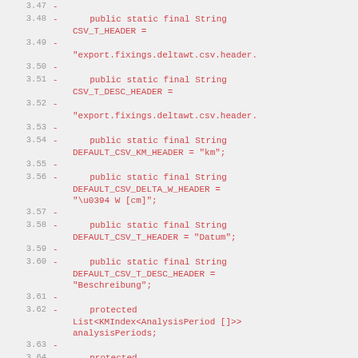3.47 -
3.48 -      public static final String CSV_T_HEADER =
3.49 - "export.fixings.deltawt.csv.header.
3.50 -
3.51 -      public static final String CSV_T_DESC_HEADER =
3.52 - "export.fixings.deltawt.csv.header.
3.53 -
3.54 -      public static final String DEFAULT_CSV_KM_HEADER = "km";
3.55 -
3.56 -      public static final String DEFAULT_CSV_DELTA_W_HEADER = "\u0394 W [cm]";
3.57 -
3.58 -      public static final String DEFAULT_CSV_T_HEADER = "Datum";
3.59 -
3.60 -      public static final String DEFAULT_CSV_T_DESC_HEADER = "Beschreibung";
3.61 -
3.62 -      protected List<KMIndex<AnalysisPeriod []>> analysisPeriods;
3.63 -
3.64 -      protected